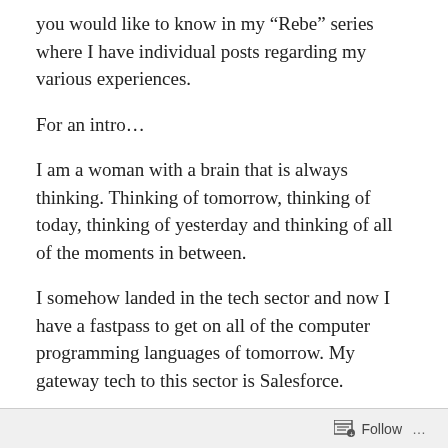you would like to know in my “Rebe” series where I have individual posts regarding my various experiences.
For an intro…
I am a woman with a brain that is always thinking. Thinking of tomorrow, thinking of today, thinking of yesterday and thinking of all of the moments in between.
I somehow landed in the tech sector and now I have a fastpass to get on all of the computer programming languages of tomorrow. My gateway tech to this sector is Salesforce.
Tech was not in my original plans. Out of high school I wanted to be doctor. After years working behind the
Follow …